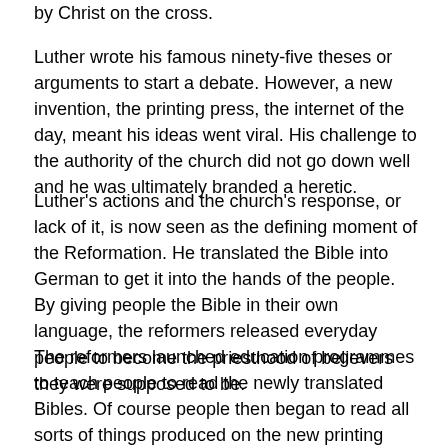by Christ on the cross.
Luther wrote his famous ninety-five theses or arguments to start a debate. However, a new invention, the printing press, the internet of the day, meant his ideas went viral. His challenge to the authority of the church did not go down well and he was ultimately branded a heretic.
Luther's actions and the church's response, or lack of it, is now seen as the defining moment of the Reformation. He translated the Bible into German to get it into the hands of the people. By giving people the Bible in their own language, the reformers released everyday people to become the priesthood of believers they were supposed to be.
The reformers launched education programmes to teach people to read the newly translated Bibles. Of course people then began to read all sorts of things produced on the new printing presses and ideas began to spread rapidly setting free all sorts of creative energies.